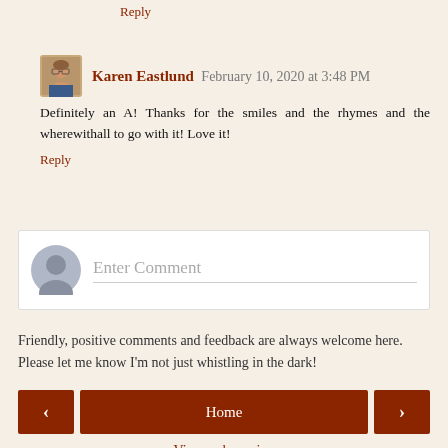Reply
Karen Eastlund  February 10, 2020 at 3:48 PM
Definitely an A! Thanks for the smiles and the rhymes and the wherewithall to go with it! Love it!
Reply
Enter Comment
Friendly, positive comments and feedback are always welcome here. Please let me know I'm not just whistling in the dark!
Home
View web version
About Me